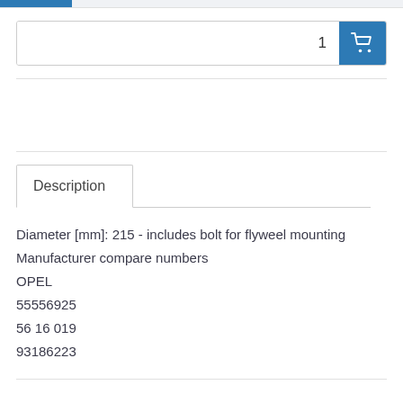[Figure (screenshot): Add to cart row with quantity field showing '1' and blue cart button]
Description
Diameter [mm]: 215 - includes bolt for flyweel mounting
Manufacturer compare numbers
OPEL
55556925
56 16 019
93186223